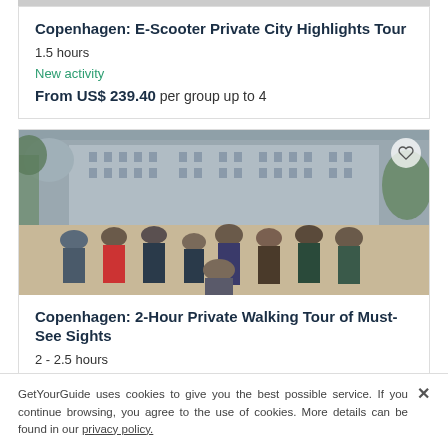Copenhagen: E-Scooter Private City Highlights Tour
1.5 hours
New activity
From US$ 239.40 per group up to 4
[Figure (photo): Group of tourists posing in front of a large historic building in Copenhagen]
Copenhagen: 2-Hour Private Walking Tour of Must-See Sights
2 - 2.5 hours
From US$ 279.30 per group up to 7
GetYourGuide uses cookies to give you the best possible service. If you continue browsing, you agree to the use of cookies. More details can be found in our privacy policy.